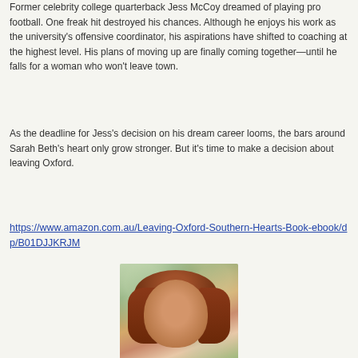Former celebrity college quarterback Jess McCoy dreamed of playing pro football. One freak hit destroyed his chances. Although he enjoys his work as the university's offensive coordinator, his aspirations have shifted to coaching at the highest level. His plans of moving up are finally coming together—until he falls for a woman who won't leave town.
As the deadline for Jess's decision on his dream career looms, the bars around Sarah Beth's heart only grow stronger. But it's time to make a decision about leaving Oxford.
https://www.amazon.com.au/Leaving-Oxford-Southern-Hearts-Book-ebook/dp/B01DJJKRJM
[Figure (photo): Portrait photo of a woman with reddish-brown hair, outdoors with blurred green background (bokeh)]